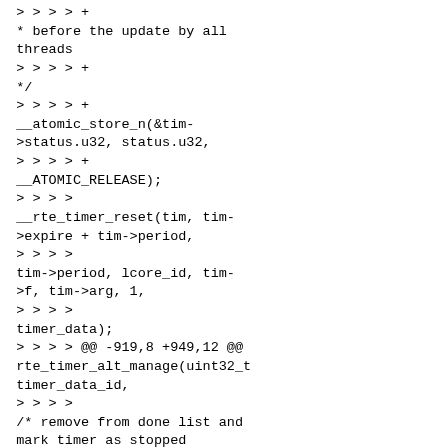> > > > +
* before the update by all threads
> > > > +
*/
> > > > +
__atomic_store_n(&tim->status.u32, status.u32,
> > > > +
__ATOMIC_RELEASE);
> > > >
__rte_timer_reset(tim, tim->expire + tim->period,
> > > >
tim->period, lcore_id, tim->f, tim->arg, 1,
> > > >
timer_data);
> > > > @@ -919,8 +949,12 @@ rte_timer_alt_manage(uint32_t timer_data_id,
> > > >
/* remove from done list and mark timer as stopped
> > > */
> > > >
status.state = RTE_TIMER_STOP;
> > > >
status.owner =